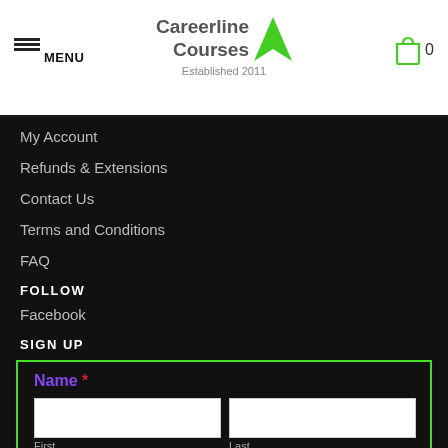MENU | Careerline Courses - Established 2011 | Cart 0
My Account
Refunds & Extensions
Contact Us
Terms and Conditions
FAQ
FOLLOW
Facebook
SIGN UP
Name * — First | Last